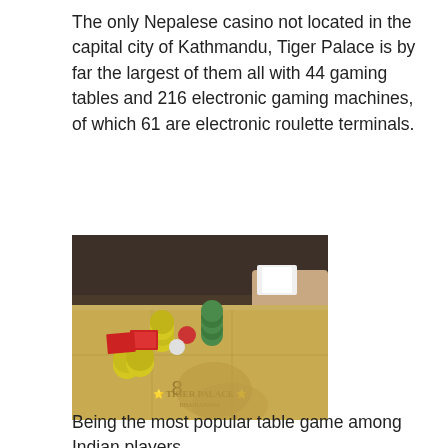The only Nepalese casino not located in the capital city of Kathmandu, Tiger Palace is by far the largest of them all with 44 gaming tables and 216 electronic gaming machines, of which 61 are electronic roulette terminals.
[Figure (photo): Casino gaming table at Tiger Palace Bhairahawa showing a baccarat/card table with yellow-green felt, gaming chips in various colors (yellow, green, red, white), playing cards, and a dealer's hand visible in the background. Tiger Palace Bhairahawa logo is printed on the table felt.]
Being the most popular table game among Indian players,